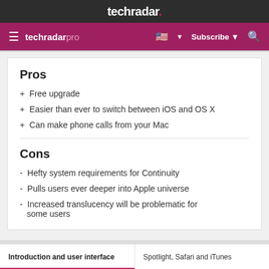techradar.
techradar pro  ☰  Subscribe  🔍
Pros
+ Free upgrade
+ Easier than ever to switch between iOS and OS X
+ Can make phone calls from your Mac
Cons
- Hefty system requirements for Continuity
- Pulls users ever deeper into Apple universe
- Increased translucency will be problematic for some users
Introduction and user interface | Spotlight, Safari and iTunes